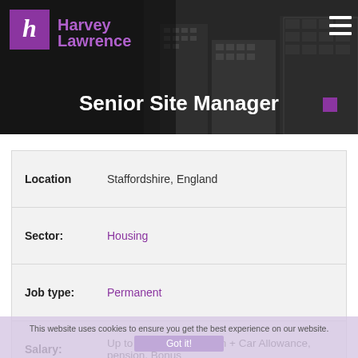[Figure (logo): Harvey Lawrence recruitment agency logo with purple 'h' box and purple text]
Senior Site Manager
| Field | Value |
| --- | --- |
| Location | Staffordshire, England |
| Sector: | Housing |
| Job type: | Permanent |
| Salary: | Up to £55000 per annum + Car Allowance, pension, Bonus |
| Contact: | Sarah Duncan |
This website uses cookies to ensure you get the best experience on our website.
Got it!